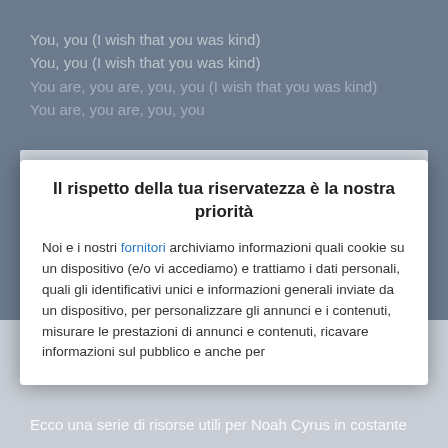You, you (I wish that you was kind)
You, you (I wish that you was kind)
You are, you are, you, you (I wish that you was kind)
You are, you are, you, you
Il rispetto della tua riservatezza è la nostra priorità
Noi e i nostri fornitori archiviamo informazioni quali cookie su un dispositivo (e/o vi accediamo) e trattiamo i dati personali, quali gli identificativi unici e informazioni generali inviate da un dispositivo, per personalizzare gli annunci e i contenuti, misurare le prestazioni di annunci e contenuti, ricavare informazioni sul pubblico e anche per
ACCETTO
PIÙ OPZIONI
Ecco una serie di risorse utili per Noah Cyrus in costante